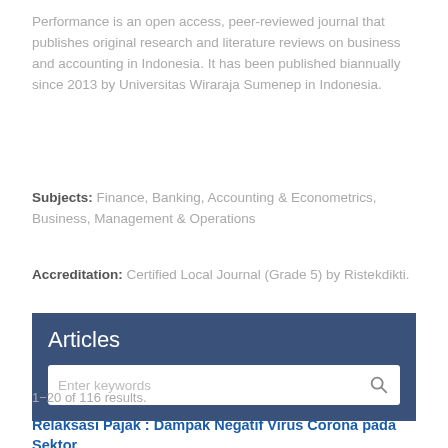Performance is an open access, peer-reviewed journal that publishes original research and literature reviews on business and accounting in Indonesia. It has been published biannually since 2013 by Universitas Wiraraja Sumenep in Indonesia.
Subjects: Finance, Banking, Accounting & Econometrics, Business, Management & Operations
Accreditation: Certified Local Journal (Grade 5) by Ristekdikti.
Articles
Enter keywords
1−20 of 116 results.
Relaksasi Pajak : Dampak Negatif Virus Corona pada Sektor